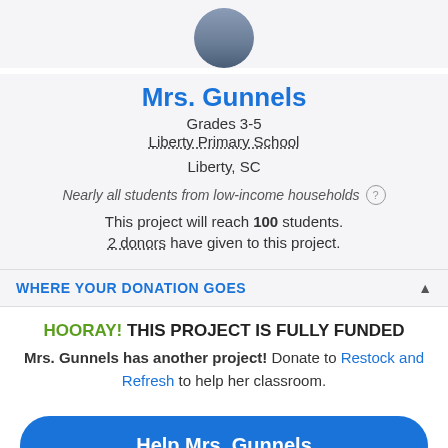[Figure (photo): Circular avatar photo of Mrs. Gunnels at top of profile card]
Mrs. Gunnels
Grades 3-5
Liberty Primary School
Liberty, SC
Nearly all students from low-income households
This project will reach 100 students.
2 donors have given to this project.
WHERE YOUR DONATION GOES
HOORAY! THIS PROJECT IS FULLY FUNDED
Mrs. Gunnels has another project! Donate to Restock and Refresh to help her classroom.
Help Mrs. Gunnels